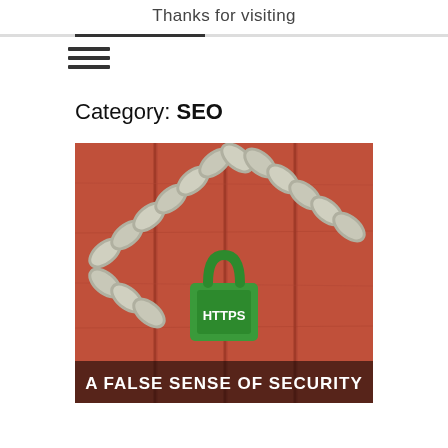Thanks for visiting
Category: SEO
[Figure (illustration): Photo of a red wooden door secured with a metal chain and a green padlock labeled 'HTTPS'. Text overlay at bottom reads 'A FALSE SENSE OF SECURITY'.]